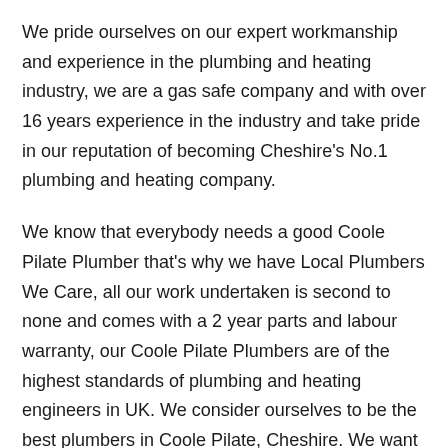We pride ourselves on our expert workmanship and experience in the plumbing and heating industry, we are a gas safe company and with over 16 years experience in the industry and take pride in our reputation of becoming Cheshire's No.1 plumbing and heating company.
We know that everybody needs a good Coole Pilate Plumber that's why we have Local Plumbers We Care, all our work undertaken is second to none and comes with a 2 year parts and labour warranty, our Coole Pilate Plumbers are of the highest standards of plumbing and heating engineers in UK. We consider ourselves to be the best plumbers in Coole Pilate, Cheshire. We want to care for all your plumbing needs